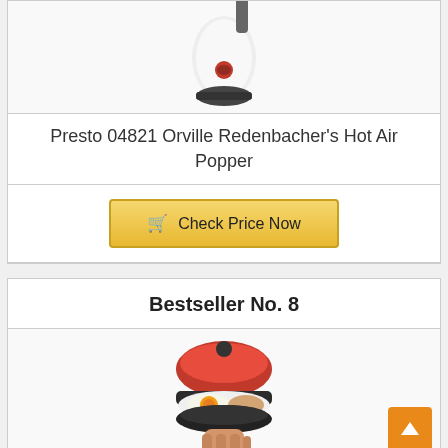[Figure (photo): Presto Orville Redenbacher's Hot Air Popper product image - white popcorn maker with black accents on light background]
Presto 04821 Orville Redenbacher's Hot Air Popper
Check Price Now
Bestseller No. 8
[Figure (photo): Egg/hamburger maker kitchen appliance with red and black body, showing a cooked egg inside, held by a hand]